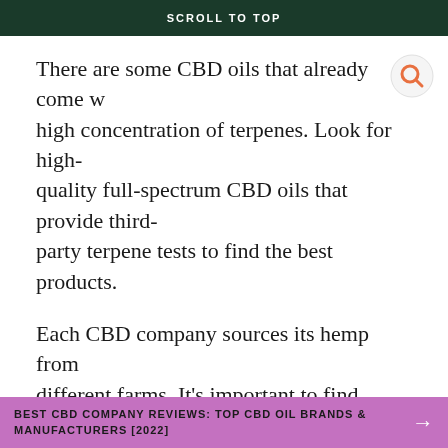SCROLL TO TOP
There are some CBD oils that already come w high concentration of terpenes. Look for high-quality full-spectrum CBD oils that provide third-party terpene tests to find the best products.
Each CBD company sources its hemp from different farms. It’s important to find companies that source their hemp from the same farms and use the same strain for every batch. When a CBD company changes its source of hemp, the terpene profiles change along with it.
Here are some of the best full-spectrum CBD oils
BEST CBD COMPANY REVIEWS: TOP CBD OIL BRANDS & MANUFACTURERS [2022]